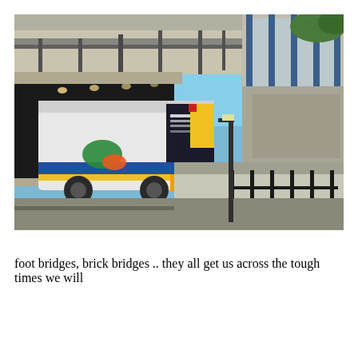[Figure (photo): A bus station or transit hub with a modern multi-level structure featuring steel and glass architecture with blue vertical columns. A city bus (white with yellow and blue markings and a dark advertisement on the rear) is exiting or entering a tunnel beneath the elevated structure. The area has covered platforms with black metal fencing. Trees and clear blue sky are visible in the background.]
foot bridges, brick bridges .. they all get us across the tough times we will